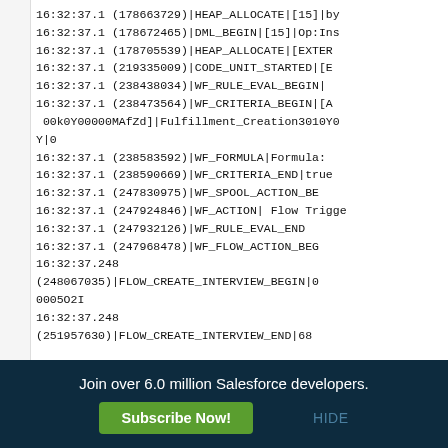16:32:37.1 (178663729)|HEAP_ALLOCATE|[15]|by
16:32:37.1 (178672465)|DML_BEGIN|[15]|Op:Ins
16:32:37.1 (178705539)|HEAP_ALLOCATE|[EXTER
16:32:37.1 (219335009)|CODE_UNIT_STARTED|[E
16:32:37.1 (238438034)|WF_RULE_EVAL_BEGIN|
16:32:37.1 (238473564)|WF_CRITERIA_BEGIN|[A
 00k0Y00000MAfZd]|Fulfillment_Creation3010Y0
Y|0
16:32:37.1 (238583592)|WF_FORMULA|Formula:
16:32:37.1 (238590669)|WF_CRITERIA_END|true
16:32:37.1 (247830975)|WF_SPOOL_ACTION_BE
16:32:37.1 (247924846)|WF_ACTION| Flow Trigge
16:32:37.1 (247932126)|WF_RULE_EVAL_END
16:32:37.1 (247968478)|WF_FLOW_ACTION_BEG
16:32:37.248
(248067035)|FLOW_CREATE_INTERVIEW_BEGIN|0
0005O2I
16:32:37.248
(251957630)|FLOW_CREATE_INTERVIEW_END|68
Join over 6.0 million Salesforce developers.
Subscribe Now!
HIDE